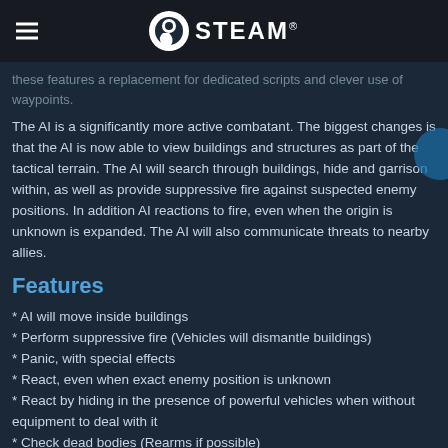STEAM
these features a replacement for dedicated scripts and clever use of waypoints.
The AI is a significantly more active combatant. The biggest changes is that the AI is now able to view buildings and structures as part of the tactical terrain. The AI will search through buildings, hide and garrison within, as well as provide suppressive fire against suspected enemy positions. In addition AI reactions to fire, even when the origin is unknown is expanded. The AI will also communicate threats to nearby allies.
Features
* AI will move inside buildings
* Perform suppressive fire (Vehicles will dismantle buildings)
* Panic, with special effects
* React, even when exact enemy position is unknown
* React by hiding in the presence of powerful vehicles when without equipment to deal with it
* Check dead bodies (Rearms if possible)